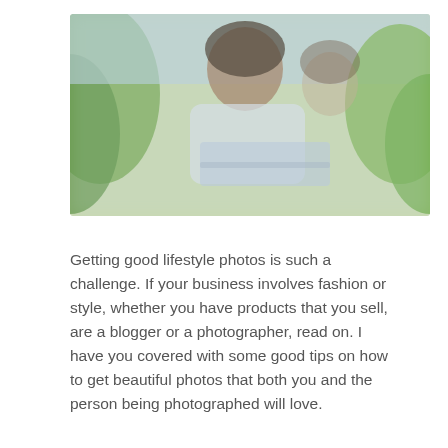[Figure (photo): A blurred outdoor lifestyle photo showing a person, with greenery in the background. The image appears intentionally blurred/pixelated.]
Getting good lifestyle photos is such a challenge. If your business involves fashion or style, whether you have products that you sell, are a blogger or a photographer, read on. I have you covered with some good tips on how to get beautiful photos that both you and the person being photographed will love.